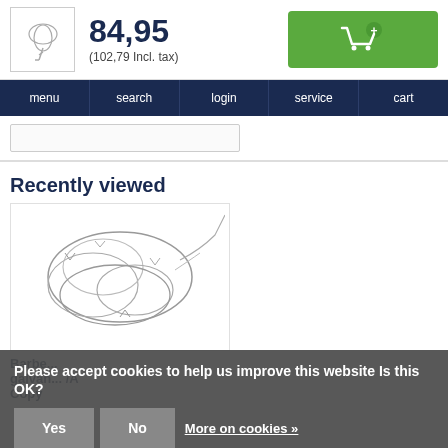[Figure (screenshot): Product thumbnail logo in a bordered box — stylized leaf/wire shape illustration]
84,95
(102,79 Incl. tax)
[Figure (illustration): Green add-to-cart button with shopping cart icon and plus sign]
menu  search  login  service  cart
Recently viewed
[Figure (illustration): Line drawing of coiled razor/barbed wire product]
Barbe... galvan... /A Copy
Please accept cookies to help us improve this website Is this OK?
Yes
No
More on cookies »